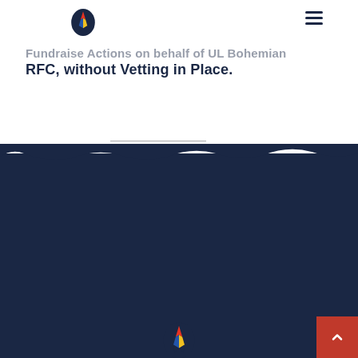[Figure (logo): UL Bohemian RFC logo top left]
Fundraise Actions on behalf of UL Bohemian RFC, without Vetting in Place.
[Figure (logo): UL Bohemian RFC logo in footer]
[Figure (infographic): Social media icons: Facebook, Instagram, Twitter, LinkedIn]
HOME   ABOUT   BECOME A SPONSOR
© 2021 UL Bohemian RFC, all rights reserved.
Web Design: Blue Bear Social